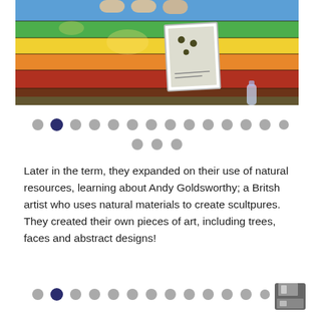[Figure (photo): A rainbow-painted wooden bench with horizontal stripes in blue, green, yellow, orange, red, and brown/dark wood colors. A dog's paws are visible at the top. A white notecard with a drawing sits on the bench.]
[Figure (other): Navigation dot indicators — two rows of circular dots, with the second dot highlighted in dark navy/purple, indicating page 2 of a slideshow.]
Later in the term, they expanded on their use of natural resources, learning about Andy Goldsworthy; a Britsh artist who uses natural materials to create scultpures. They created their own pieces of art, including trees, faces and abstract designs!
[Figure (other): Navigation dot indicators — bottom row of circular dots with second dot highlighted in dark navy/purple. A small grey save/floppy disk icon appears at the far right.]